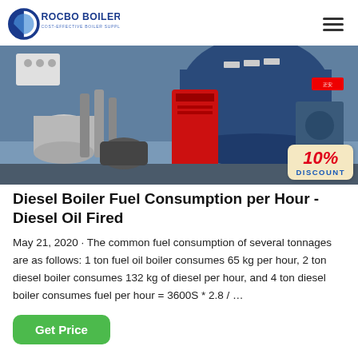ROCBO BOILER - COST-EFFECTIVE BOILER SUPPLIER
[Figure (photo): Industrial boiler room with large blue cylindrical boilers and a red boiler unit in the foreground, with piping and machinery visible. A '10% DISCOUNT' badge overlays the bottom-right corner.]
Diesel Boiler Fuel Consumption per Hour - Diesel Oil Fired
May 21, 2020 · The common fuel consumption of several tonnages are as follows: 1 ton fuel oil boiler consumes 65 kg per hour, 2 ton diesel boiler consumes 132 kg of diesel per hour, and 4 ton diesel boiler consumes fuel per hour = 3600S * 2.8 / …